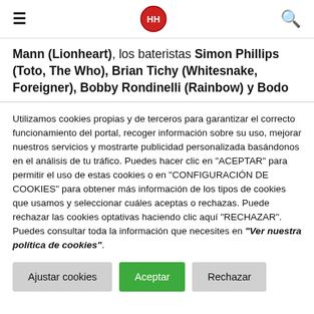≡ [logo] 🔍
Mann (Lionheart), los bateristas Simon Phillips (Toto, The Who), Brian Tichy (Whitesnake, Foreigner), Bobby Rondinelli (Rainbow) y Bodo
Utilizamos cookies propias y de terceros para garantizar el correcto funcionamiento del portal, recoger información sobre su uso, mejorar nuestros servicios y mostrarte publicidad personalizada basándonos en el análisis de tu tráfico. Puedes hacer clic en "ACEPTAR" para permitir el uso de estas cookies o en "CONFIGURACIÓN DE COOKIES" para obtener más información de los tipos de cookies que usamos y seleccionar cuáles aceptas o rechazas. Puede rechazar las cookies optativas haciendo clic aquí "RECHAZAR". Puedes consultar toda la información que necesites en "Ver nuestra política de cookies".
Ajustar cookies
Aceptar
Rechazar